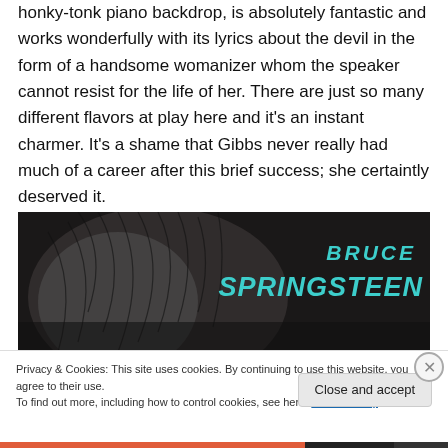honky-tonk piano backdrop, is absolutely fantastic and works wonderfully with its lyrics about the devil in the form of a handsome womanizer whom the speaker cannot resist for the life of her. There are just so many different flavors at play here and it's an instant charmer. It's a shame that Gibbs never really had much of a career after this brief success; she certaintly deserved it.
[Figure (photo): A dark close-up photo of a person with dark hair bowed down, with 'BRUCE SPRINGSTEEN' written in cyan/teal stylized lettering in the upper right]
Privacy & Cookies: This site uses cookies. By continuing to use this website, you agree to their use.
To find out more, including how to control cookies, see here: Cookie Policy